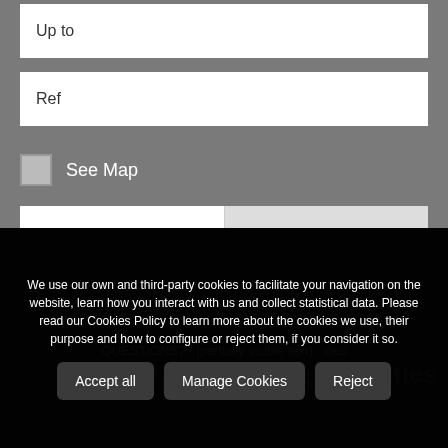Up to
Ref
See Map
Advanced
Search for
Alerts
We use our own and third-party cookies to facilitate your navigation on the website, learn how you interact with us and collect statistical data. Please read our Cookies Policy to learn more about the cookies we use, their purpose and how to configure or reject them, if you consider it so.
Accept all
Manage Cookies
Reject